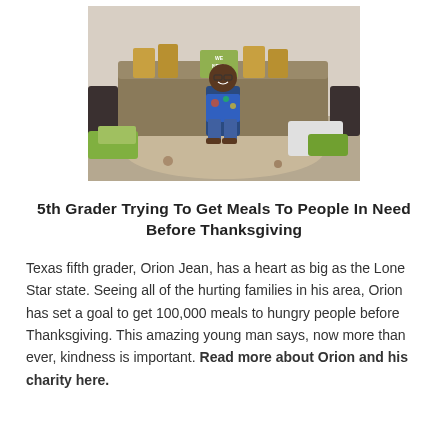[Figure (photo): A young boy (Orion Jean) stands smiling in front of a table loaded with grocery bags and food items, surrounded by more food on the floor. He is wearing a colorful t-shirt and jeans. A sign on the table reads 'WE NEED YOU'.]
5th Grader Trying To Get Meals To People In Need Before Thanksgiving
Texas fifth grader, Orion Jean, has a heart as big as the Lone Star state. Seeing all of the hurting families in his area, Orion has set a goal to get 100,000 meals to hungry people before Thanksgiving. This amazing young man says, now more than ever, kindness is important. Read more about Orion and his charity here.